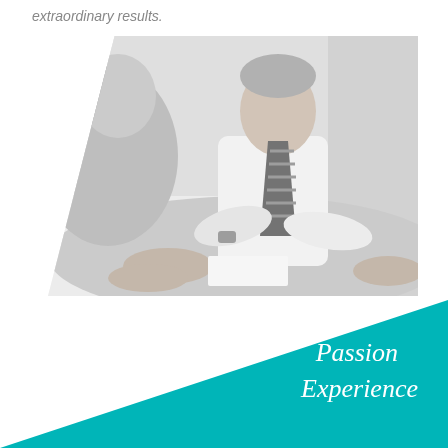extraordinary results.
[Figure (photo): Black and white photo of business professionals in a meeting. A man in a white shirt and striped tie is leaning forward at a table, engaging with colleagues whose hands are visible in the foreground.]
Passion
Experience